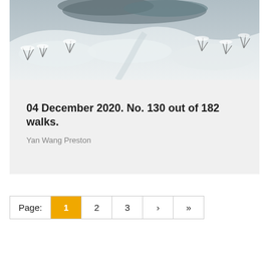[Figure (photo): Snowy winter landscape with snow-covered shrubs, bushes, and grasses on a hillside or moorland. The scene is predominantly white with grey tones.]
04 December 2020. No. 130 out of 182 walks.
Yan Wang Preston
Page: 1 2 3 › »